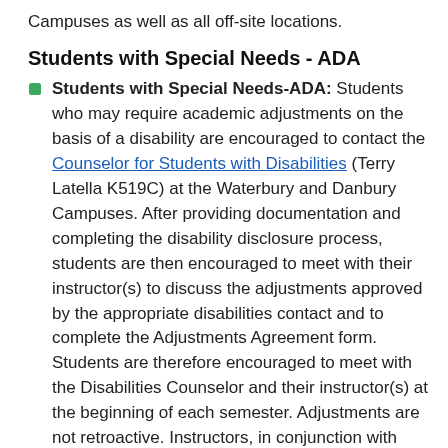Campuses as well as all off-site locations.
Students with Special Needs - ADA
Students with Special Needs-ADA: Students who may require academic adjustments on the basis of a disability are encouraged to contact the Counselor for Students with Disabilities (Terry Latella K519C) at the Waterbury and Danbury Campuses. After providing documentation and completing the disability disclosure process, students are then encouraged to meet with their instructor(s) to discuss the adjustments approved by the appropriate disabilities contact and to complete the Adjustments Agreement form. Students are therefore encouraged to meet with the Disabilities Counselor and their instructor(s) at the beginning of each semester. Adjustments are not retroactive. Instructors, in conjunction with appropriate college personnel, will provide assistance and/or adjustments only to those students who have completed the disability disclosure process and received